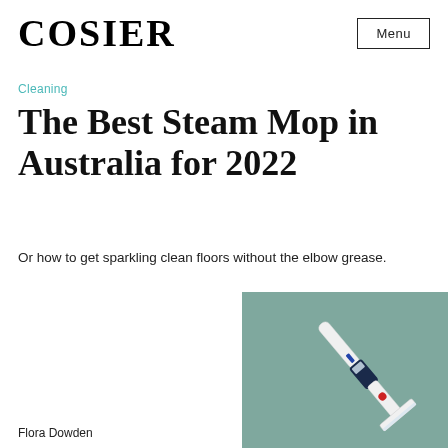COSIER
Cleaning
The Best Steam Mop in Australia for 2022
Or how to get sparkling clean floors without the elbow grease.
[Figure (photo): A steam mop with white and dark blue/navy handle shown on a muted teal/sage green background, photographed at an angle showing the mop head and body.]
Flora Dowden